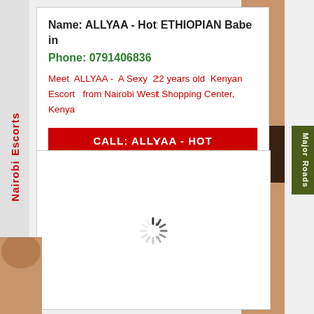Nairobi Escorts
Major Roads
Name: ALLYAA - Hot ETHIOPIAN Babe in
Phone: 0791406836
Meet  ALLYAA -  A Sexy  22 years old  Kenyan Escort  from Nairobi West Shopping Center, Kenya
CALL:  ALLYAA - HOT
[Figure (photo): Loading spinner indicating image is loading]
[Figure (photo): Partial view of person on left side]
[Figure (photo): Partial view of person on right side]